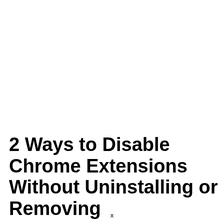2 Ways to Disable Chrome Extensions Without Uninstalling or Removing
x